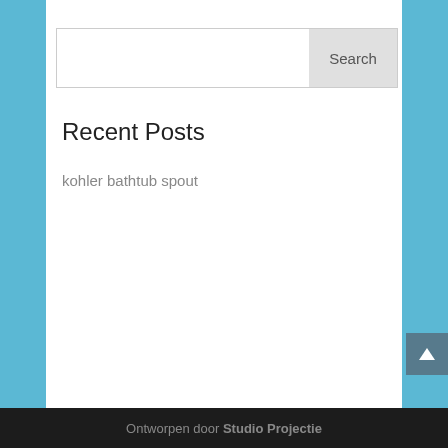[Figure (screenshot): Search input box with 'Search' button on the right, grey button style]
Recent Posts
kohler bathtub spout
[Figure (other): Blue-grey footer background area]
Ontworpen door Studio Projectie